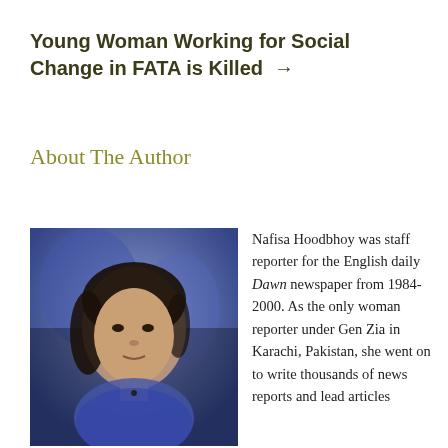Young Woman Working for Social Change in FATA is Killed →
About The Author
[Figure (photo): Portrait photo of Nafisa Hoodbhoy, a woman with dark hair against a blue background]
Nafisa Hoodbhoy was staff reporter for the English daily Dawn newspaper from 1984-2000. As the only woman reporter under Gen Zia in Karachi, Pakistan, she went on to write thousands of news reports and lead articles